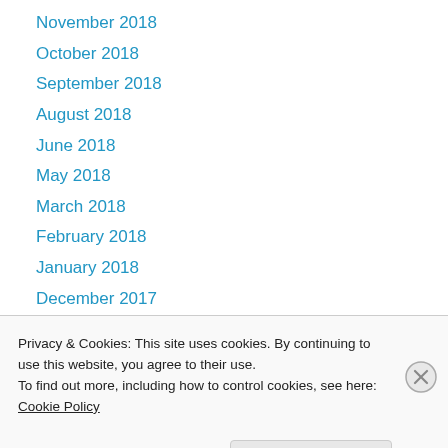November 2018
October 2018
September 2018
August 2018
June 2018
May 2018
March 2018
February 2018
January 2018
December 2017
November 2017
October 2017
September 2017
Privacy & Cookies: This site uses cookies. By continuing to use this website, you agree to their use.
To find out more, including how to control cookies, see here: Cookie Policy
Close and accept